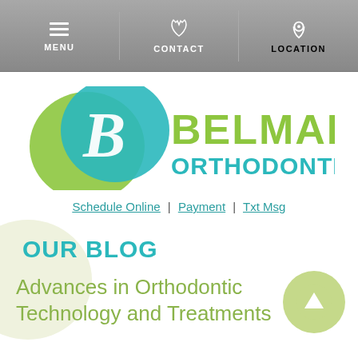MENU | CONTACT | LOCATION
[Figure (logo): Belmar Orthodontics logo with teal and green interlocking circles containing a stylized B, and 'BELMAR ORTHODONTICS' text in lime green and teal]
Schedule Online | Payment | Txt Msg
OUR BLOG
Advances in Orthodontic Technology and Treatments